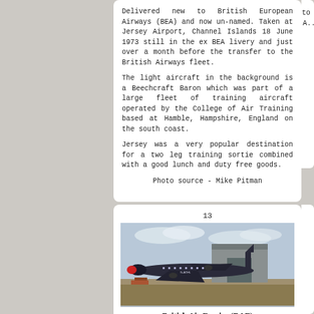Delivered new to British European Airways (BEA) and now un-named. Taken at Jersey Airport, Channel Islands 18 June 1973 still in the ex BEA livery and just over a month before the transfer to the British Airways fleet.

The light aircraft in the background is a Beechcraft Baron which was part of a large fleet of training aircraft operated by the College of Air Training based at Hamble, Hampshire, England on the south coast.

Jersey was a very popular destination for a two leg training sortie combined with a good lunch and duty free goods.

Photo source - Mike Pitman
Transferred from British European Airways (BEA) due to a corporate merger. Taken at Birmingham International Airport... West Midlands, England 23 F...

Photo source - Rob H...
13
[Figure (photo): Vintage propeller aircraft (Vickers Viscount) in dark livery with red nose cone parked on apron in front of a hangar, March 1981]
British Air Ferries (BAF)
G-AOHL
March 1981
Purchased from British Airways (BA). Taken
14
[Figure (photo): Vintage propeller aircraft (Vickers Viscount) with orange/red and white nose cone livery, tail visible, July 1983]
British Air Ferries
G-AOHL
July 1983